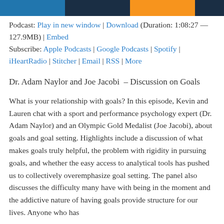[Figure (other): Top navigation banner with blue, dark navy, orange, and dark navy colored segments]
Podcast: Play in new window | Download (Duration: 1:08:27 — 127.9MB) | Embed
Subscribe: Apple Podcasts | Google Podcasts | Spotify | iHeartRadio | Stitcher | Email | RSS | More
Dr. Adam Naylor and Joe Jacobi  – Discussion on Goals
What is your relationship with goals? In this episode, Kevin and Lauren chat with a sport and performance psychology expert (Dr. Adam Naylor) and an Olympic Gold Medalist (Joe Jacobi), about goals and goal setting. Highlights include a discussion of what makes goals truly helpful, the problem with rigidity in pursuing goals, and whether the easy access to analytical tools has pushed us to collectively overemphasize goal setting. The panel also discusses the difficulty many have with being in the moment and the addictive nature of having goals provide structure for our lives. Anyone who has